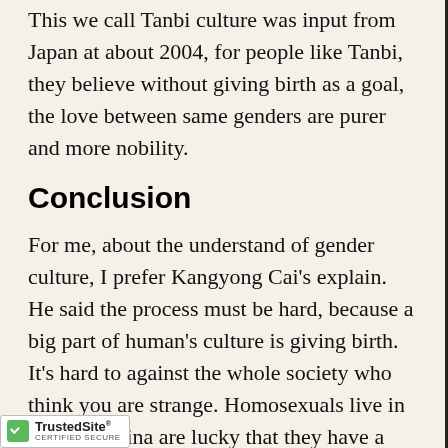This we call Tanbi culture was input from Japan at about 2004, for people like Tanbi, they believe without giving birth as a goal, the love between same genders are purer and more nobility.
Conclusion
For me, about the understand of gender culture, I prefer Kangyong Cai's explain. He said the process must be hard, because a big part of human's culture is giving birth. It's hard to against the whole society who think you are strange. Homosexuals live in modern China are lucky that they have a powerful leader did the most hard job for them as being the first signal, and a strong signal to make the society [accept] them. As Cai said, our culture was